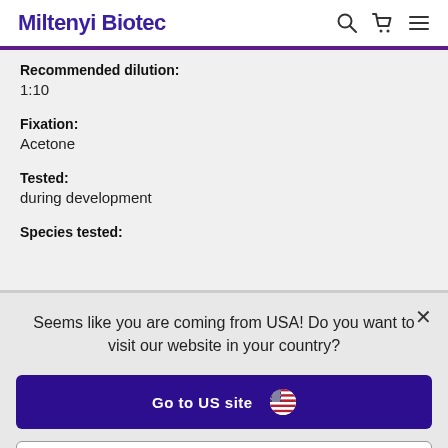Miltenyi Biotec
Recommended dilution:
1:10
Fixation:
Acetone
Tested:
during development
Species tested:
Seems like you are coming from USA! Do you want to visit our website in your country?
Go to US site
Stay on Dutch site